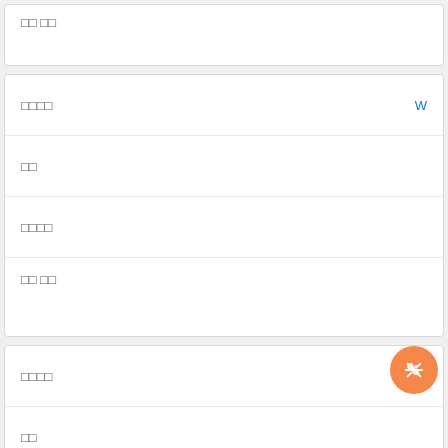□□ □□
□□□□
W
□□
□□□□
□□ □□
□□□□
□□